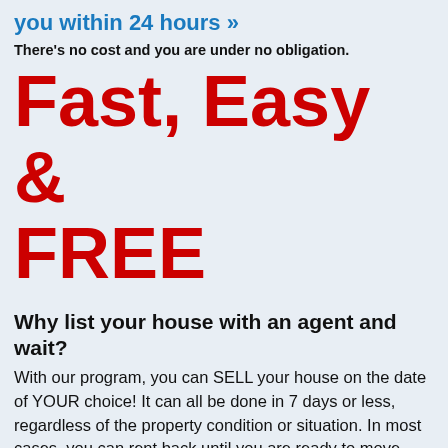you within 24 hours »
There's no cost and you are under no obligation.
Fast, Easy & FREE
Why list your house with an agent and wait?
With our program, you can SELL your house on the date of YOUR choice! It can all be done in 7 days or less, regardless of the property condition or situation. In most cases, you can rent back until you are ready to move.